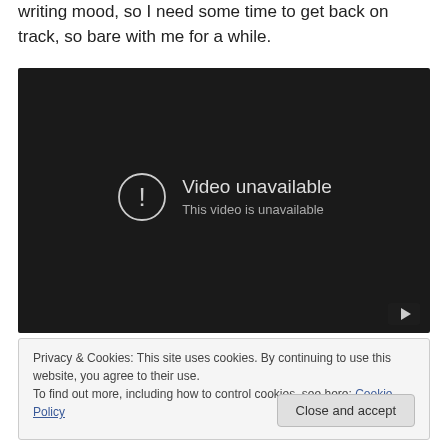writing mood, so I need some time to get back on track, so bare with me for a while.
[Figure (screenshot): Embedded YouTube video player showing 'Video unavailable – This video is unavailable' error message with a circle exclamation icon on a dark background, and a YouTube play button icon in the bottom right corner.]
Privacy & Cookies: This site uses cookies. By continuing to use this website, you agree to their use.
To find out more, including how to control cookies, see here: Cookie Policy
Close and accept